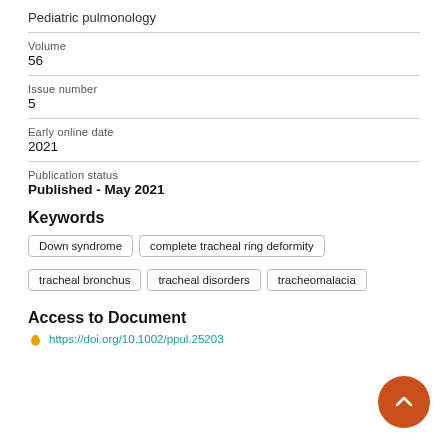Pediatric pulmonology
Volume
56
Issue number
5
Early online date
2021
Publication status
Published - May 2021
Keywords
Down syndrome
complete tracheal ring deformity
tracheal bronchus
tracheal disorders
tracheomalacia
Access to Document
https://doi.org/10.1002/ppul.25203